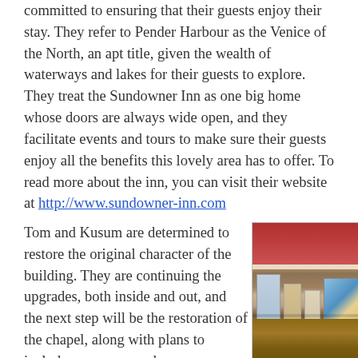committed to ensuring that their guests enjoy their stay. They refer to Pender Harbour as the Venice of the North, an apt title, given the wealth of waterways and lakes for their guests to explore. They treat the Sundowner Inn as one big home whose doors are always wide open, and they facilitate events and tours to make sure their guests enjoy all the benefits this lovely area has to offer. To read more about the inn, you can visit their website at http://www.sundowner-inn.com
Tom and Kusum are determined to restore the original character of the building. They are continuing the upgrades, both inside and out, and the next step will be the restoration of the chapel, along with plans to include a museum and an event/performance space. It's
[Figure (photo): Interior photo of what appears to be a reception or gift shop counter with a wooden desk and various books/items displayed, with artwork on the wall behind.]
Not to mention local books!